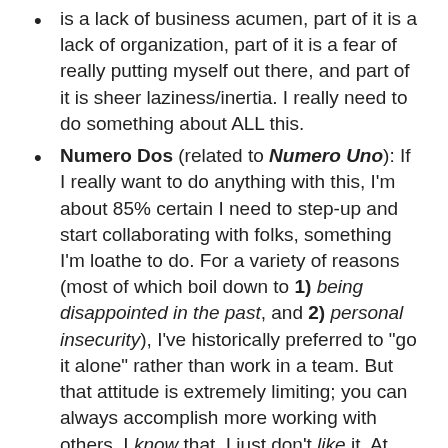is a lack of business acumen, part of it is a lack of organization, part of it is a fear of really putting myself out there, and part of it is sheer laziness/inertia. I really need to do something about ALL this.
Numero Dos (related to Numero Uno): If I really want to do anything with this, I'm about 85% certain I need to step-up and start collaborating with folks, something I'm loathe to do. For a variety of reasons (most of which boil down to 1) being disappointed in the past, and 2) personal insecurity), I've historically preferred to "go it alone" rather than work in a team. But that attitude is extremely limiting; you can always accomplish more working with others. I know that, I just don't like it. At least if I rely on myself for EVERYTHING I feel I have 100% control...and I'm pretty control freakish. Problem is, I can't do everything (decent artwork for example). It's shooting myself in the foot (or the head) to operate the way I do.